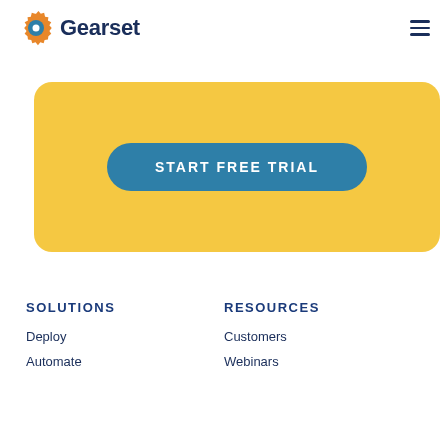[Figure (logo): Gearset logo with gear icon and company name]
[Figure (infographic): Yellow rounded banner with teal START FREE TRIAL button]
SOLUTIONS
Deploy
Automate
RESOURCES
Customers
Webinars